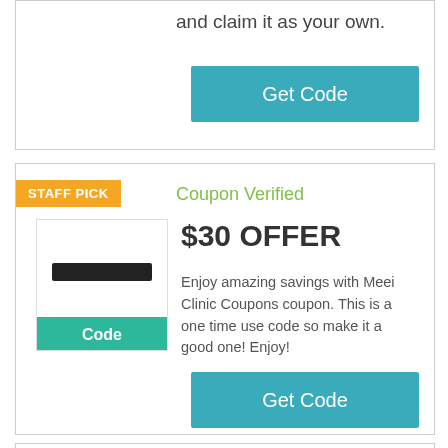and claim it as your own.
Get Code
STAFF PICK
Coupon Verified
[Figure (other): Thumbnail image with a dark bar mockup and a green 'Code' badge below]
$30 OFFER
Enjoy amazing savings with Meei Clinic Coupons coupon. This is a one time use code so make it a good one! Enjoy!
Get Code
Coupon Verified (partial, bottom card)